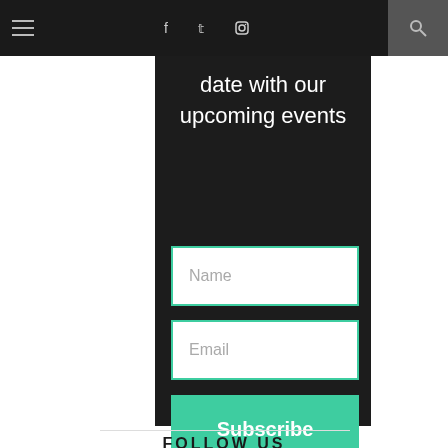Navigation bar with menu icon, social icons (f, twitter, instagram), and search
date with our upcoming events
[Figure (screenshot): Name input field with teal border on dark background]
[Figure (screenshot): Email input field with teal border on dark background]
[Figure (screenshot): Subscribe button in teal/green color]
FOLLOW US